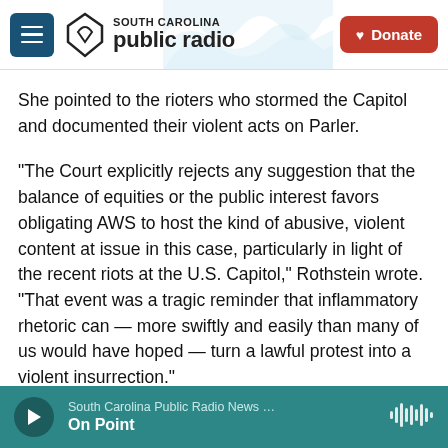South Carolina Public Radio — Donate
She pointed to the rioters who stormed the Capitol and documented their violent acts on Parler.
"The Court explicitly rejects any suggestion that the balance of equities or the public interest favors obligating AWS to host the kind of abusive, violent content at issue in this case, particularly in light of the recent riots at the U.S. Capitol," Rothstein wrote. "That event was a tragic reminder that inflammatory rhetoric can — more swiftly and easily than many of us would have hoped — turn a lawful protest into a violent insurrection."
South Carolina Public Radio News … On Point